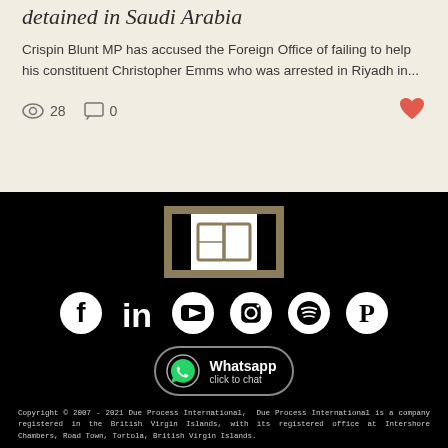detained in Saudi Arabia
Crispin Blunt MP has accused the Foreign Office of failing to help his constituent Christopher Emms who was arrested in Riyadh in...
28 views · 0 comments
[Figure (logo): Due Process International logo - book-like icon in white box inside black and gold bordered square]
[Figure (infographic): Social media icons row: Facebook, LinkedIn, YouTube, Instagram, Spotify, Pinterest - white on black]
[Figure (infographic): WhatsApp click to chat button with phone icon in rounded border]
Copyright © 2007 - 2021 Due Process International,  Due Process International is a company registered in the British Virgin Islands, with its registered office at Intershore Chambers, Road Town, Tortola, British Virgin Islands.
info@detainedindubai.org  Tel +44 207 060 6900 WhatsApp +44 7752 639948